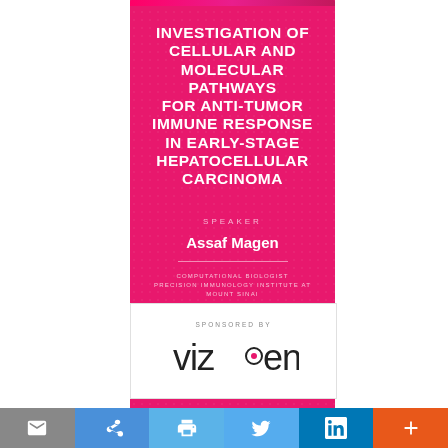INVESTIGATION OF CELLULAR AND MOLECULAR PATHWAYS FOR ANTI-TUMOR IMMUNE RESPONSE IN EARLY-STAGE HEPATOCELLULAR CARCINOMA
SPEAKER
Assaf Magen
COMPUTATIONAL BIOLOGIST
PRECISION IMMUNOLOGY INSTITUTE AT MOUNT SINAI
SPONSORED BY
[Figure (logo): Vizgen company logo in black text with a pink dot accent inside the letter g]
INVESTIGATING EPIGENOMIC ALTERATIONS IN CANCER WITH...
Social sharing toolbar with email, share, print, Twitter, LinkedIn, and plus icons